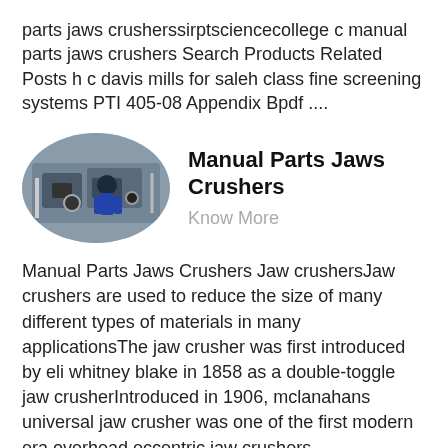parts jaws crusherssirptsciencecollege c manual parts jaws crushers Search Products Related Posts h c davis mills for saleh class fine screening systems PTI 405-08 Appendix Bpdf ....
Manual Parts Jaws Crushers
Know More
Manual Parts Jaws Crushers Jaw crushersJaw crushers are used to reduce the size of many different types of materials in many applicationsThe jaw crusher was first introduced by eli whitney blake in 1858 as a double-toggle jaw crusherIntroduced in 1906, mclanahans universal jaw crusher was one of the first modern era overhead eccentric jaw crushers...